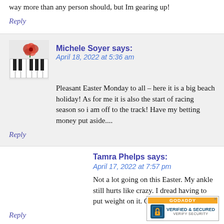way more than any person should, but Im gearing up!
Reply
Michele Soyer says:
April 18, 2022 at 5:36 am
Pleasant Easter Monday to all – here it is a big beach holiday! As for me it is also the start of racing season so i am off to the track! Have my betting money put aside....
Reply
Tamra Phelps says:
April 17, 2022 at 7:57 pm
Not a lot going on this Easter. My ankle still hurts like crazy. I dread having to put weight on it. Oh, well, it will pass...
Reply
[Figure (logo): GoDaddy Verified & Secured badge]